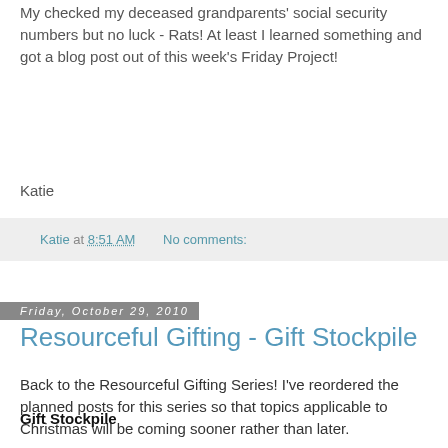My checked my deceased grandparents' social security numbers but no luck - Rats! At least I learned something and got a blog post out of this week's Friday Project!
Katie
Katie at 8:51 AM    No comments:
Friday, October 29, 2010
Resourceful Gifting - Gift Stockpile
Back to the Resourceful Gifting Series! I've reordered the planned posts for this series so that topics applicable to Christmas will be coming sooner rather than later.
Gift Stockpile
One way to keep gift prices low is to purchase quality items when you find an excellent price any time of year. These